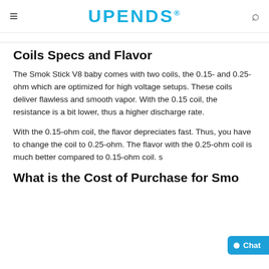≡ UPENDS® 🔍
Coils Specs and Flavor
The Smok Stick V8 baby comes with two coils, the 0.15- and 0.25-ohm which are optimized for high voltage setups. These coils deliver flawless and smooth vapor. With the 0.15 coil, the resistance is a bit lower, thus a higher discharge rate.
With the 0.15-ohm coil, the flavor depreciates fast. Thus, you have to change the coil to 0.25-ohm. The flavor with the 0.25-ohm coil is much better compared to 0.15-ohm coil. s
What is the Cost of Purchase for Smo